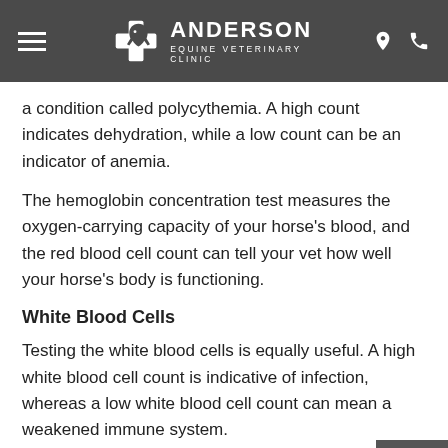ANDERSON EQUINE VETERINARY CLINIC
a condition called polycythemia. A high count indicates dehydration, while a low count can be an indicator of anemia.
The hemoglobin concentration test measures the oxygen-carrying capacity of your horse's blood, and the red blood cell count can tell your vet how well your horse's body is functioning.
White Blood Cells
Testing the white blood cells is equally useful. A high white blood cell count is indicative of infection, whereas a low white blood cell count can mean a weakened immune system.
Benefits of In-House Diagnostics and